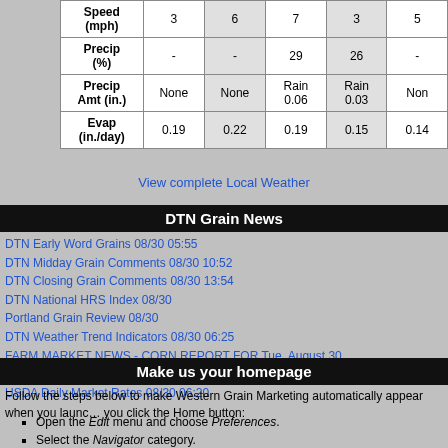|  | col1 | col2 | col3 | col4 | col5 |
| --- | --- | --- | --- | --- | --- |
| Speed (mph) | 3 | 6 | 7 | 3 | 5 |
| Precip (%) | - | - | 29 | 26 | - |
| Precip Amt (in.) | None | None | Rain 0.06 | Rain 0.03 | Non |
| Evap (in./day) | 0.19 | 0.22 | 0.19 | 0.15 | 0.14 |
View complete Local Weather
DTN Grain News
DTN Early Word Grains 08/30 05:55
DTN Midday Grain Comments 08/30 10:52
DTN Closing Grain Comments 08/30 13:54
DTN National HRS Index 08/30
Portland Grain Review 08/30
DTN Weather Trend Indicators 08/30 06:25
FARM MARKET NEWS - CORN REPORT FOR Tue, August 30
FARM MARKET NEWS - SOYBEAN AND WHEAT REPORT FOR Tue, August 30
USDA Daily Market Rates 08/30 06:20
Make us your homepage
Follow the steps below to make Western Grain Marketing automatically appear when you launch your browser or when you click the Home button:
Open the Edit menu and choose Preferences.
Select the Navigator category.
Choose Home page under Navigator starts with.
In the Home page section, type http://home.westerngrainmarketing.com.